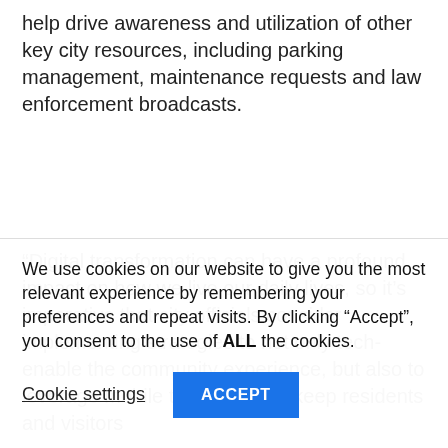help drive awareness and utilization of other key city resources, including parking management, maintenance requests and law enforcement broadcasts.
“Digital transformation can have a profound impact on how we live our daily lives, so it’s imperative that city officials consider implementing strategies to not only tech-enable the community experience, but also to leverage mobile technology to keep residents and visitors
We use cookies on our website to give you the most relevant experience by remembering your preferences and repeat visits. By clicking “Accept”, you consent to the use of ALL the cookies.
Cookie settings
ACCEPT